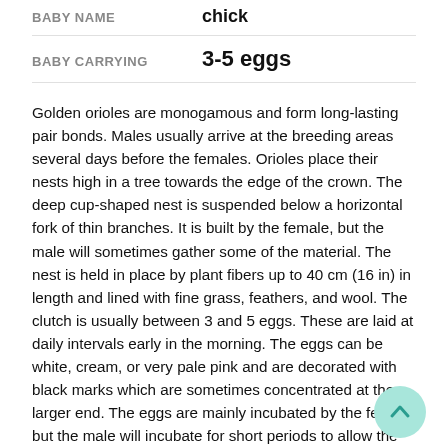BABY NAME   chick
BABY CARRYING   3-5 eggs
Golden orioles are monogamous and form long-lasting pair bonds. Males usually arrive at the breeding areas several days before the females. Orioles place their nests high in a tree towards the edge of the crown. The deep cup-shaped nest is suspended below a horizontal fork of thin branches. It is built by the female, but the male will sometimes gather some of the material. The nest is held in place by plant fibers up to 40 cm (16 in) in length and lined with fine grass, feathers, and wool. The clutch is usually between 3 and 5 eggs. These are laid at daily intervals early in the morning. The eggs can be white, cream, or very pale pink and are decorated with black marks which are sometimes concentrated at the larger end. The eggs are mainly incubated by the female but the male will incubate for short periods to allow the female to feed. The eggs hatch after 16-17 days. The chicks are fed by both parents but are mostly brooded by the female. They fled after 16-20 days and can breed at 2 or 3 years of age.